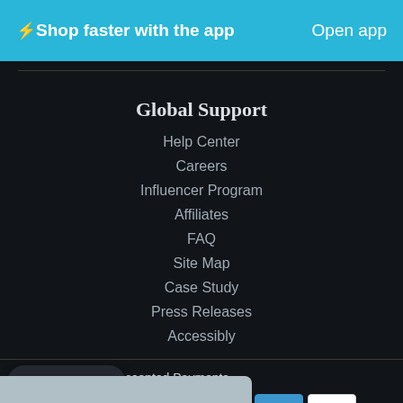⚡Shop faster with the app   Open app
Global Support
Help Center
Careers
Influencer Program
Affiliates
FAQ
Site Map
Case Study
Press Releases
Accessibly
Accepted Payments
[Figure (logo): Payment icons: LAY-BUY, Mastercard, PayPal, Venmo, Visa]
[Figure (logo): Trust badge icons: Google Maps pin, green lock, 30-day badge, Shopify bag, PCI badge]
Chat with us